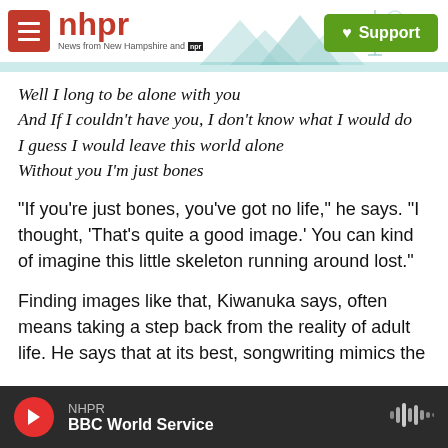[Figure (screenshot): NHPR website header with red hamburger menu button, NHPR logo in red, mountain and radio tower silhouette background illustration, and green Support button with heart icon]
Well I long to be alone with you
And If I couldn't have you, I don't know what I would do
I guess I would leave this world alone
Without you I'm just bones
"If you're just bones, you've got no life," he says. "I thought, 'That's quite a good image.' You can kind of imagine this little skeleton running around lost."
Finding images like that, Kiwanuka says, often means taking a step back from the reality of adult life. He says that at its best, songwriting mimics the
NHPR
BBC World Service